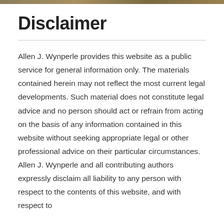Disclaimer
Allen J. Wynperle provides this website as a public service for general information only. The materials contained herein may not reflect the most current legal developments. Such material does not constitute legal advice and no person should act or refrain from acting on the basis of any information contained in this website without seeking appropriate legal or other professional advice on their particular circumstances. Allen J. Wynperle and all contributing authors expressly disclaim all liability to any person with respect to the contents of this website, and with respect to